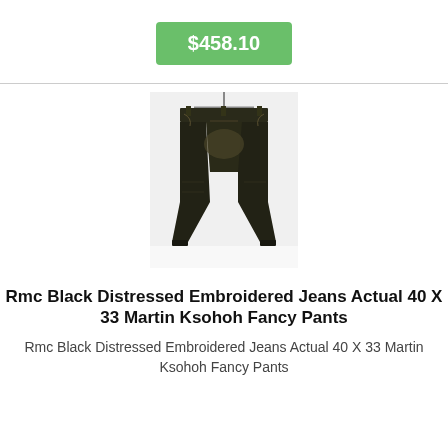$458.10
[Figure (photo): Dark distressed denim jeans hanging on a hanger, black/dark wash with embroidered details and worn/distressed front]
Rmc Black Distressed Embroidered Jeans Actual 40 X 33 Martin Ksohoh Fancy Pants
Rmc Black Distressed Embroidered Jeans Actual 40 X 33 Martin Ksohoh Fancy Pants